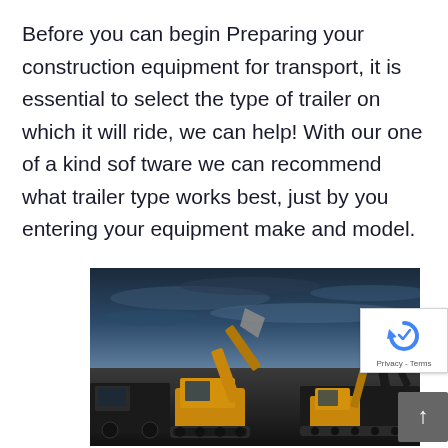Before you can begin Preparing your construction equipment for transport, it is essential to select the type of trailer on which it will ride, we can help! With our one of a kind software we can recommend what trailer type works best, just by you entering your equipment make and model.
[Figure (photo): Photo of construction equipment including excavators and heavy machinery silhouetted against a dramatic cloudy sky, with yellow and black vehicles visible]